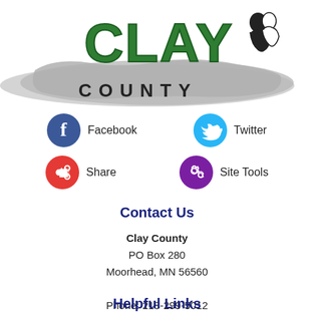[Figure (logo): Clay County logo with green CLAY text, silhouette of two faces, and gray brushstroke background with COUNTY text]
[Figure (infographic): Social media icons row 1: Facebook (blue circle with f) and Twitter (cyan circle with bird)]
[Figure (infographic): Social media icons row 2: Share (red circle with share icon) and Site Tools (purple circle with gear icon)]
Contact Us
Clay County
PO Box 280
Moorhead, MN 56560

Phone: 218-299-5012
Directory
Get Directions
Helpful Links